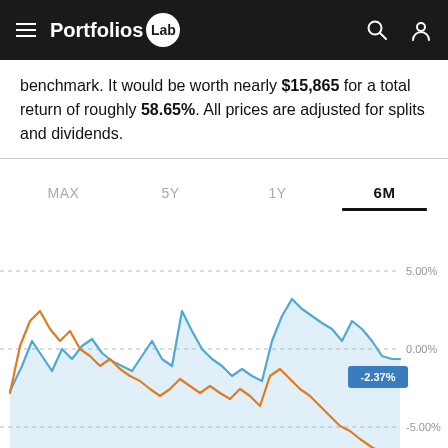Portfolios Lab
benchmark. It would be worth nearly $15,865 for a total return of roughly 58.65%. All prices are adjusted for splits and dividends.
[Figure (line-chart): Line chart with time range tabs (MAX, 5Y, 1Y, 6M). 6M is selected. Two lines: blue (portfolio) and orange (benchmark) showing percentage returns over 6 months. Y-axis shows 5.00%, 0.00%, -5.00%. Blue line ends with a label -2.37%. The chart shows volatile performance with peaks around 7-8% early in the period and recent values around -2% to -5%.]